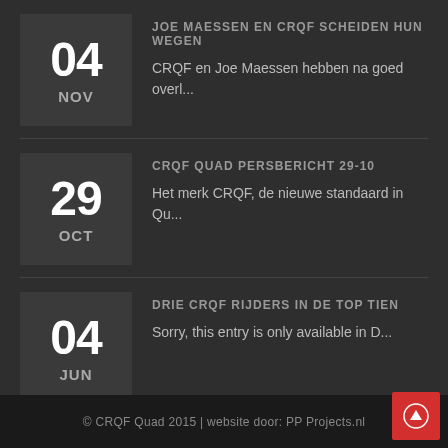JOE MAESSEN EN CRQF SCHEIDEN HUN WEGEN
CRQF en Joe Maessen hebben na goed overl...
CRQF QUAD PERSBERICHT 29-10
Het merk CRQF, de nieuwe standaard in Qu...
DRIE CRQF RIJDERS IN DE TOP TIEN
Sorry, this entry is only available in D...
© CRQF Quad 2015 | website door: PP Projects.nl